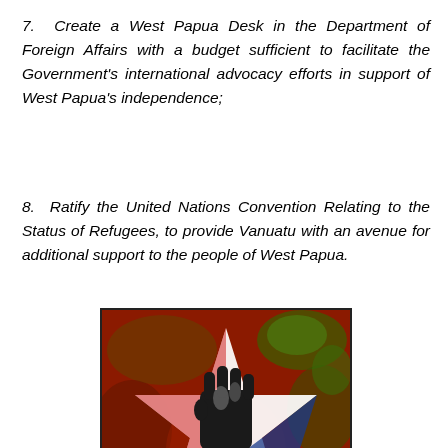7. Create a West Papua Desk in the Department of Foreign Affairs with a budget sufficient to facilitate the Government's international advocacy efforts in support of West Papua's independence;
8. Ratify the United Nations Convention Relating to the Status of Refugees, to provide Vanuatu with an avenue for additional support to the people of West Papua.
[Figure (illustration): Illustration of a raised fist overlaid on a star shape with red, white, and blue colors against a red and green textured background, symbolizing West Papua independence movement.]